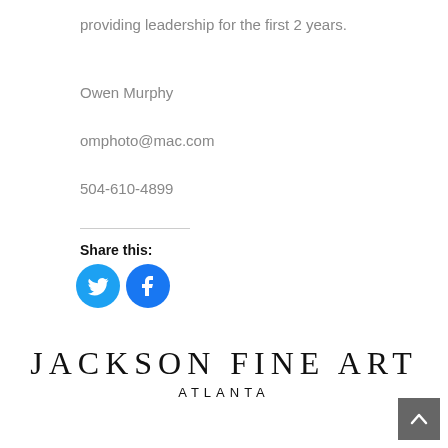providing leadership for the first 2 years.
Owen Murphy
omphoto@mac.com
504-610-4899
Share this:
[Figure (illustration): Twitter and Facebook social sharing icons (circular blue buttons with white bird and f logos)]
[Figure (logo): Jackson Fine Art Atlanta logo — large serif text JACKSON FINE ART with ATLANTA in spaced caps below]